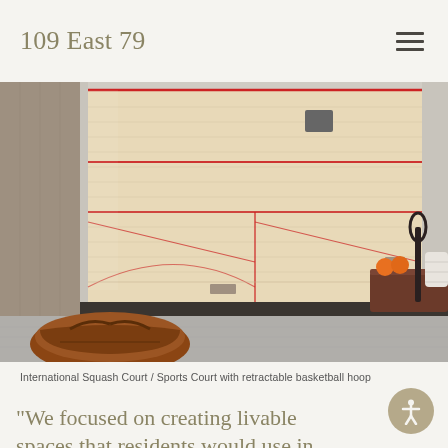109 East 79
[Figure (photo): Interior view of an International Squash Court / Sports Court with wooden floor, red court lines, glass wall, squash balls, rackets, towels, and a gym bag in the foreground]
International Squash Court / Sports Court with retractable basketball hoop
“We focused on creating livable spaces that residents would use in